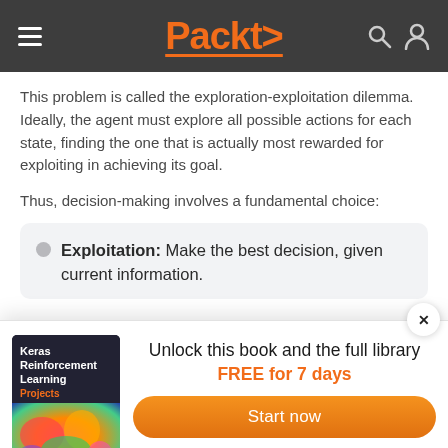Packt>
This problem is called the exploration-exploitation dilemma. Ideally, the agent must explore all possible actions for each state, finding the one that is actually most rewarded for exploiting in achieving its goal.
Thus, decision-making involves a fundamental choice:
Exploitation: Make the best decision, given current information.
[Figure (other): Promotional popup: Book cover of 'Keras Reinforcement Learning Projects' with offer to unlock the book and full library FREE for 7 days, with a 'Start now' button.]